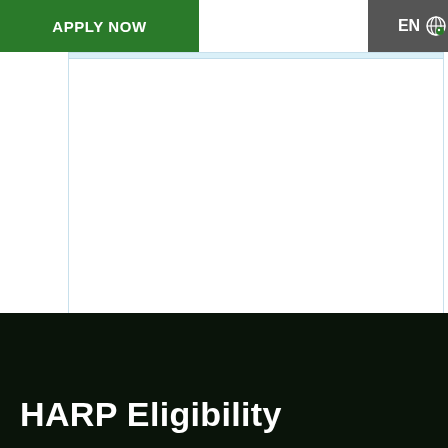APPLY NOW
EN
[Figure (screenshot): White content area with light blue top border, representing a web page content region]
HARP Eligibility